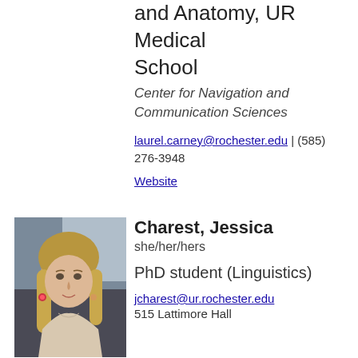and Anatomy, UR Medical School
Center for Navigation and Communication Sciences
laurel.carney@rochester.edu | (585) 276-3948
Website
[Figure (photo): Headshot photo of Jessica Charest, a woman with long blond hair, sitting in a car, wearing a light-colored top and earrings.]
Charest, Jessica
she/her/hers
PhD student (Linguistics)
jcharest@ur.rochester.edu
515 Lattimore Hall